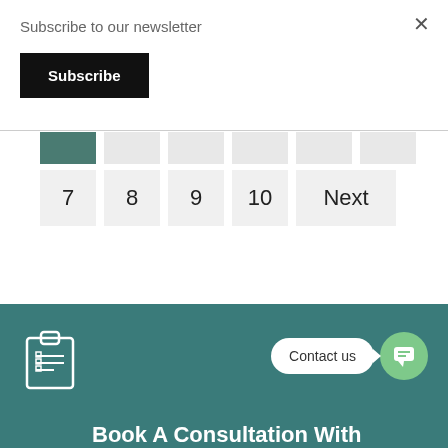Subscribe to our newsletter
Subscribe
×
[Figure (screenshot): Pagination widget showing page numbers 7, 8, 9, 10 and Next button with an active (teal) first page button partially visible in top row]
[Figure (infographic): Teal footer section with clipboard icon, 'Contact us' speech bubble button, green chat icon, and partial text 'Book A Consultation With']